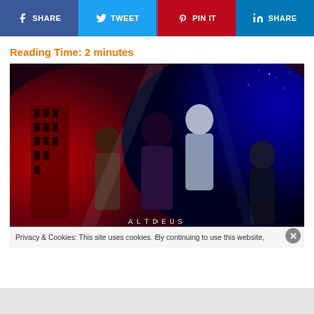[Figure (other): Social share bar with Facebook Share, Twitter Tweet, Pinterest Pin It, and LinkedIn Share buttons]
Reading Time: 2 minutes
[Figure (illustration): Anime illustration for ALTDEUS showing multiple characters in front of a dark red and blue dramatic background with destroyed buildings. Title 'ALTDEUS' visible at bottom center.]
Privacy & Cookies: This site uses cookies. By continuing to use this website,